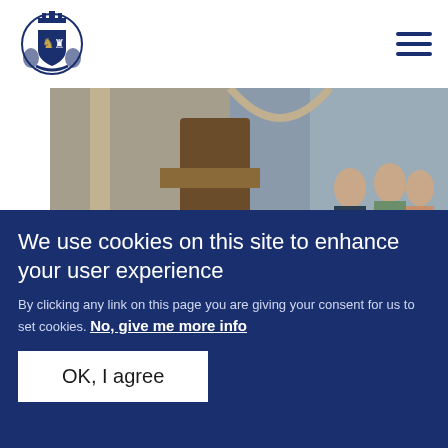[Figure (logo): Royal coat of arms logo in blue and gold]
[Figure (photo): Members of the British Royal Family seated at a ceremonial event in what appears to be Westminster Abbey, wearing formal attire]
NEWS
The Royal Week of...
We use cookies on this site to enhance your user experience
By clicking any link on this page you are giving your consent for us to set cookies. No, give me more info
OK, I agree